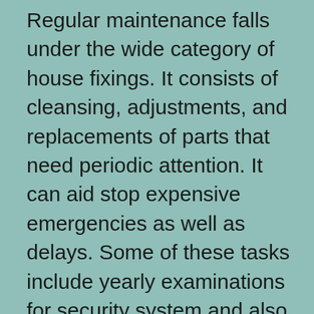Regular maintenance falls under the wide category of house fixings. It consists of cleansing, adjustments, and replacements of parts that need periodic attention. It can aid stop expensive emergencies as well as delays. Some of these tasks include yearly examinations for security system and also main heating and a/c systems. Cleaning out dry floor drainpipe traps and also seamless gutters and repairing fractured chimney flues are likewise important for property owners. These jobs will certainly maintain your residence looking its ideal. A properly maintained house will enhance its market price